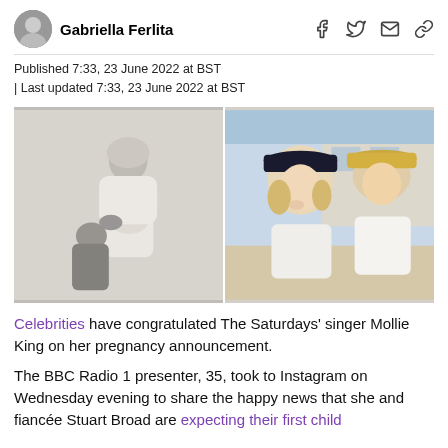Gabriella Ferlita
Published 7:33, 23 June 2022 at BST
| Last updated 7:33, 23 June 2022 at BST
[Figure (photo): Two side-by-side photos: left is a black-and-white maternity photo of Mollie King with her partner kissing her bump; right is a colour selfie of Mollie King and Stuart Broad wearing hats on a beach.]
Celebrities have congratulated The Saturdays' singer Mollie King on her pregnancy announcement.
The BBC Radio 1 presenter, 35, took to Instagram on Wednesday evening to share the happy news that she and fiancée Stuart Broad are expecting their first child